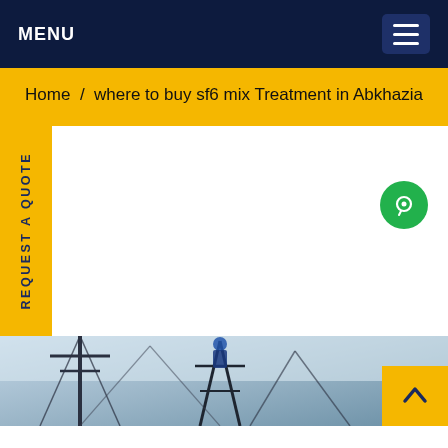MENU
Home / where to buy sf6 mix Treatment in Abkhazia
REQUEST A QUOTE
[Figure (photo): Industrial/engineering site photo showing crane or electrical tower structures, partially visible at bottom of page. A yellow back-to-top arrow button overlays the bottom right corner.]